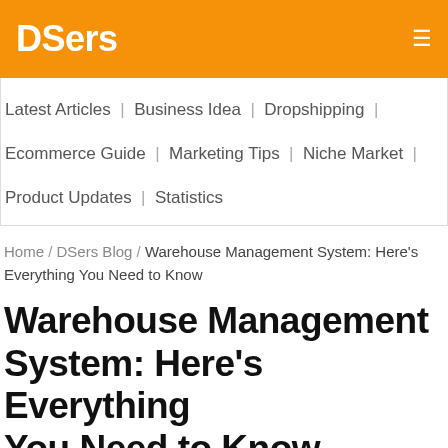DSers ≡
Latest Articles | Business Idea | Dropshipping | Ecommerce Guide | Marketing Tips | Niche Market | Product Updates | Statistics
Home / DSers Blog / Warehouse Management System: Here's Everything You Need to Know
Warehouse Management System: Here's Everything You Need to Know